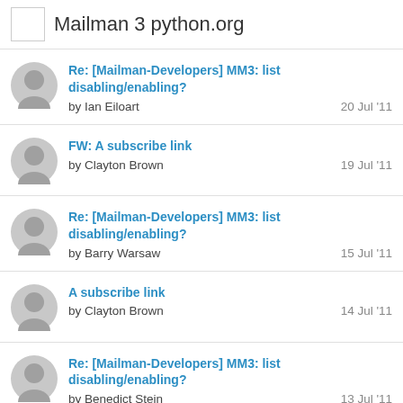Mailman 3 python.org
Re: [Mailman-Developers] MM3: list disabling/enabling?
by Ian Eiloart
20 Jul '11
FW: A subscribe link
by Clayton Brown
19 Jul '11
Re: [Mailman-Developers] MM3: list disabling/enabling?
by Barry Warsaw
15 Jul '11
A subscribe link
by Clayton Brown
14 Jul '11
Re: [Mailman-Developers] MM3: list disabling/enabling?
by Benedict Stein
13 Jul '11